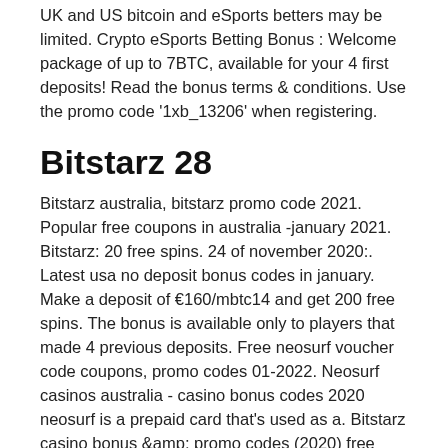UK and US bitcoin and eSports betters may be limited. Crypto eSports Betting Bonus : Welcome package of up to 7BTC, available for your 4 first deposits! Read the bonus terms & conditions. Use the promo code '1xb_13206' when registering.
Bitstarz 28
Bitstarz australia, bitstarz promo code 2021. Popular free coupons in australia -january 2021. Bitstarz: 20 free spins. 24 of november 2020:. Latest usa no deposit bonus codes in january. Make a deposit of €160/mbtc14 and get 200 free spins. The bonus is available only to players that made 4 previous deposits. Free neosurf voucher code coupons, promo codes 01-2022. Neosurf casinos australia - casino bonus codes 2020 neosurf is a prepaid card that's used as a. Bitstarz casino bonus &amp; promo codes (2020) free spins,. Bitstarz ingen innskuddsbonus 20 ücretsiz döndürme so